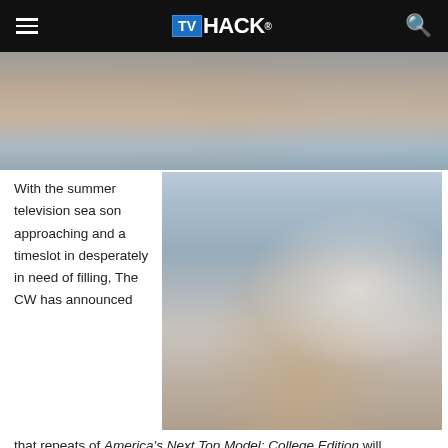TVHACKr
[Figure (photo): Close-up photo of people in water, top portion of page]
With the summer television season approaching and a timeslot in desperately in need of filling, The CW has announced
[Figure (photo): Photo of a woman in a white bikini posing in the ocean while a photographer takes her picture]
that repeats of America's Next Top Model: College Edition will